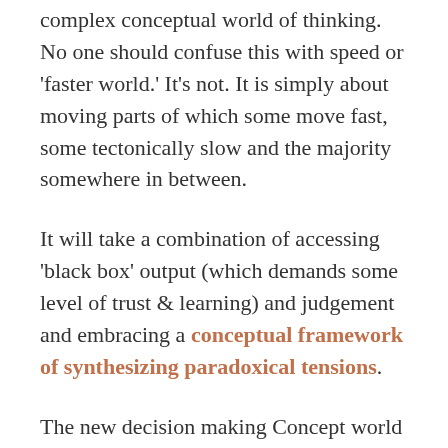complex conceptual world of thinking. No one should confuse this with speed or 'faster world.' It's not. It is simply about moving parts of which some move fast, some tectonically slow and the majority somewhere in between.
It will take a combination of accessing 'black box' output (which demands some level of trust & learning) and judgement and embracing a conceptual framework of synthesizing paradoxical tensions.
The new decision making Concept world